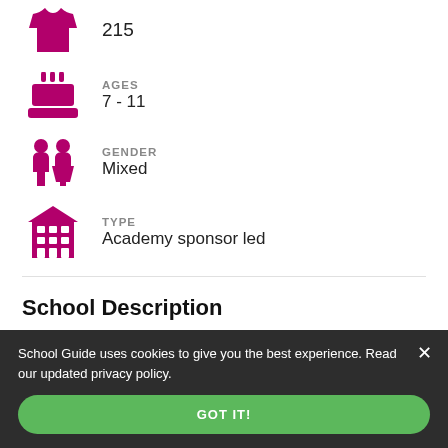215
AGES
7 - 11
GENDER
Mixed
TYPE
Academy sponsor led
School Description
The school is an averaged-sized junior school. The
School Guide uses cookies to give you the best experience. Read our updated privacy policy.
GOT IT!